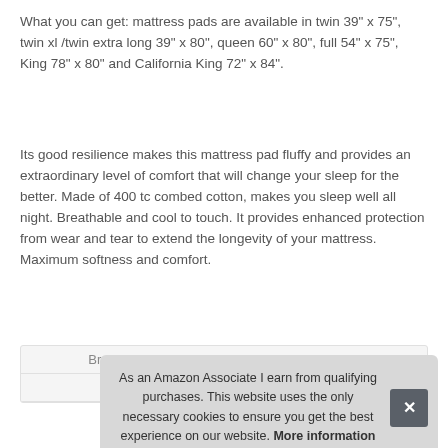What you can get: mattress pads are available in twin 39" x 75", twin xl /twin extra long 39" x 80", queen 60" x 80", full 54" x 75", King 78" x 80" and California King 72" x 84".
Its good resilience makes this mattress pad fluffy and provides an extraordinary level of comfort that will change your sleep for the better. Made of 400 tc combed cotton, makes you sleep well all night. Breathable and cool to touch. It provides enhanced protection from wear and tear to extend the longevity of your mattress. Maximum softness and comfort.
| Brand | TEXARTIST |
| Ma |  |
As an Amazon Associate I earn from qualifying purchases. This website uses the only necessary cookies to ensure you get the best experience on our website. More information